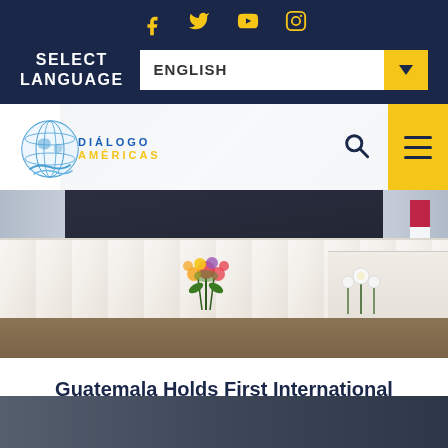Social media icons: Facebook, Twitter, YouTube, Instagram
SELECT LANGUAGE | ENGLISH (dropdown)
[Figure (logo): Diálogo Américas logo with globe icon, search icon, and hamburger menu button on yellow background]
[Figure (photo): Event or ceremony room with white tablecloth-covered tables, a dark backdrop/curtain, colorful flower arrangement, and an American flag visible on the right side]
Guatemala Holds First International Cybersecurity Seminar
[Figure (photo): Bottom strip of a second photo, partially visible]